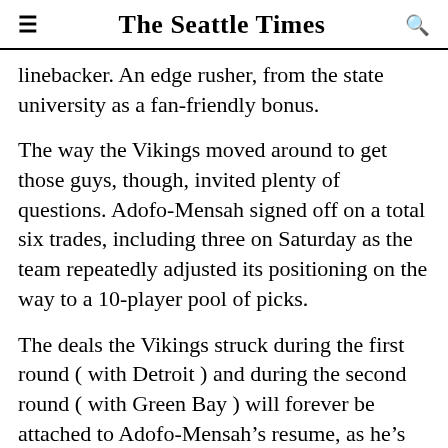The Seattle Times
linebacker. An edge rusher, from the state university as a fan-friendly bonus.
The way the Vikings moved around to get those guys, though, invited plenty of questions. Adofo-Mensah signed off on a total six trades, including three on Saturday as the team repeatedly adjusted its positioning on the way to a 10-player pool of picks.
The deals the Vikings struck during the first round ( with Detroit ) and during the second round ( with Green Bay ) will forever be attached to Adofo-Mensah’s resume, as he’s well aware. Fans will be closely tracking the progress of the wide receivers (Jameson Williams at No. 12 to the Lions and Christian Watson at No. _ to the Packers) that_